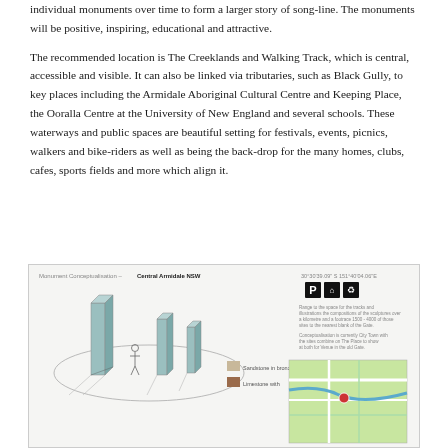individual monuments over time to form a larger story of song-line. The monuments will be positive, inspiring, educational and attractive.
The recommended location is The Creeklands and Walking Track, which is central, accessible and visible. It can also be linked via tributaries, such as Black Gully, to key places including the Armidale Aboriginal Cultural Centre and Keeping Place, the Ooralla Centre at the University of New England and several schools. These waterways and public spaces are beautiful setting for festivals, events, picnics, walkers and bike-riders as well as being the back-drop for the many homes, clubs, cafes, sports fields and more which align it.
[Figure (illustration): Monument Conceptualisation diagram for Central Armidale NSW showing 3D monument pillars with a human figure for scale, legend with sandstone in bronze and limestone with coordinates 30°30'39.09"S 151°40'04.06"E, facility icons (parking, shelter, recycling), descriptive text panels, and a green map inset.]